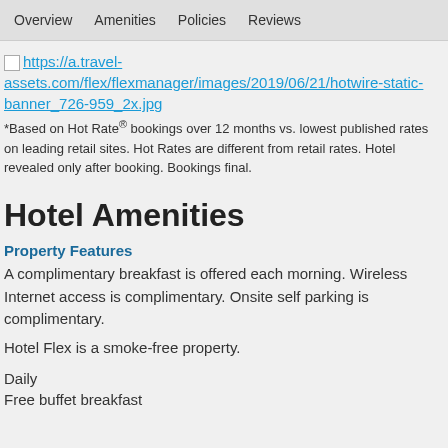Overview   Amenities   Policies   Reviews
[Figure (other): Broken image link showing URL: https://a.travel-assets.com/flex/flexmanager/images/2019/06/21/hotwire-static-banner_726-959_2x.jpg]
*Based on Hot Rate® bookings over 12 months vs. lowest published rates on leading retail sites. Hot Rates are different from retail rates. Hotel revealed only after booking. Bookings final.
Hotel Amenities
Property Features
A complimentary breakfast is offered each morning. Wireless Internet access is complimentary. Onsite self parking is complimentary.
Hotel Flex is a smoke-free property.
Daily
Free buffet breakfast